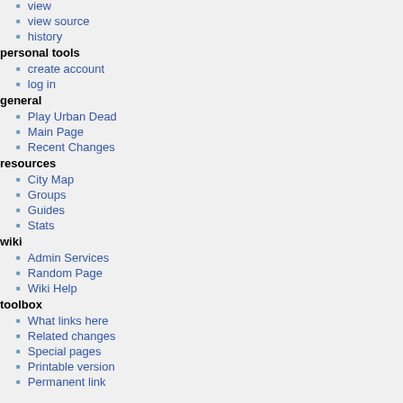view
view source
history
personal tools
create account
log in
general
Play Urban Dead
Main Page
Recent Changes
resources
City Map
Groups
Guides
Stats
wiki
Admin Services
Random Page
Wiki Help
toolbox
What links here
Related changes
Special pages
Printable version
Permanent link